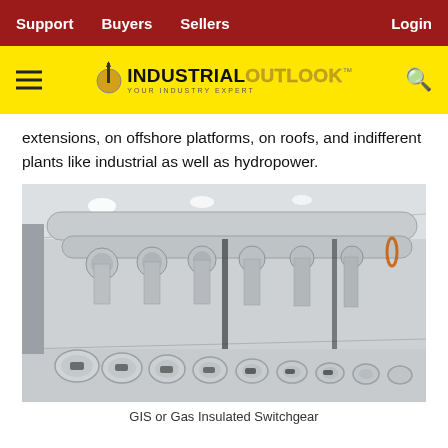Support  Buyers  Sellers  Login
[Figure (logo): Industrial Outlook logo on yellow background with hamburger menu and search icon]
extensions, on offshore platforms, on roofs, and indifferent plants like industrial as well as hydropower.
[Figure (photo): Interior of a large facility with rows of Gas Insulated Switchgear (GIS) equipment — large white cylindrical pipes and spherical enclosures arranged along the length of a bright, industrial hall.]
GIS or Gas Insulated Switchgear